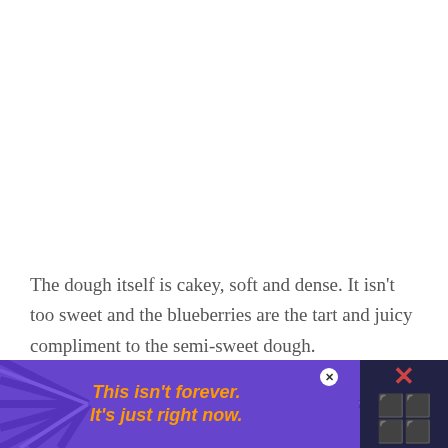The dough itself is cakey, soft and dense. It isn't too sweet and the blueberries are the tart and juicy compliment to the semi-sweet dough.
But wanna know what is sweet? Hello delicious glaze!! That I completely covered the blueberry donuts in! Yes please – it gives the
[Figure (other): Advertisement banner with purple background and diagonal ray pattern. Orange italic bold text reads 'This isn't forever. It's just right now.' Close button visible.]